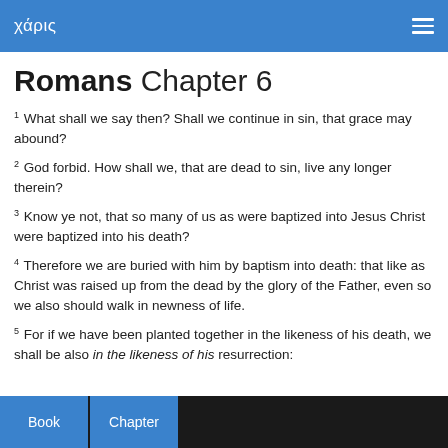χάρις
Romans Chapter 6
1 What shall we say then? Shall we continue in sin, that grace may abound?
2 God forbid. How shall we, that are dead to sin, live any longer therein?
3 Know ye not, that so many of us as were baptized into Jesus Christ were baptized into his death?
4 Therefore we are buried with him by baptism into death: that like as Christ was raised up from the dead by the glory of the Father, even so we also should walk in newness of life.
5 For if we have been planted together in the likeness of his death, we shall be also in the likeness of his resurrection:
Book  Chapter